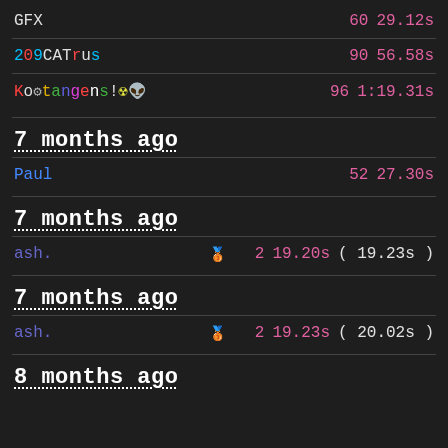GFX  60  29.12s
209CATrus  90  56.58s
Kotangens!☢👽  96  1:19.31s
7 months ago
Paul  52  27.30s
7 months ago
ash.  🥉 2  19.20s ( 19.23s )
7 months ago
ash.  🥉 2  19.23s ( 20.02s )
8 months ago